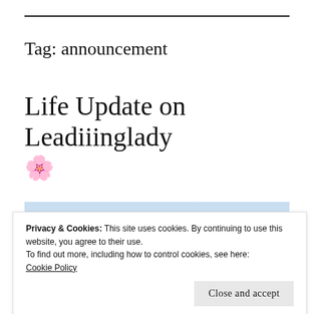Tag: announcement
Life Update on Leadiiinglady 🌸
[Figure (photo): Outdoor cityscape photo showing a light blue sky with a tower or antenna visible, and city buildings at the bottom.]
Privacy & Cookies: This site uses cookies. By continuing to use this website, you agree to their use.
To find out more, including how to control cookies, see here:
Cookie Policy
Close and accept